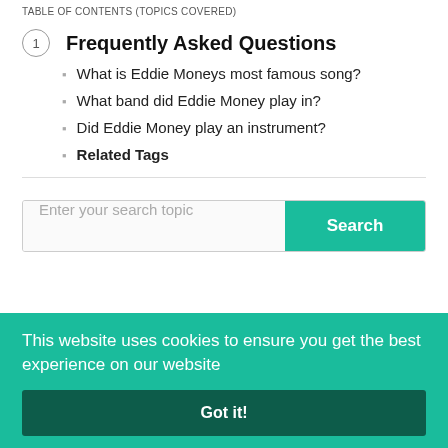TABLE OF CONTENTS (TOPICS COVERED)
1  Frequently Asked Questions
What is Eddie Moneys most famous song?
What band did Eddie Money play in?
Did Eddie Money play an instrument?
Related Tags
Enter your search topic
Search
This website uses cookies to ensure you get the best experience on our website
Got it!